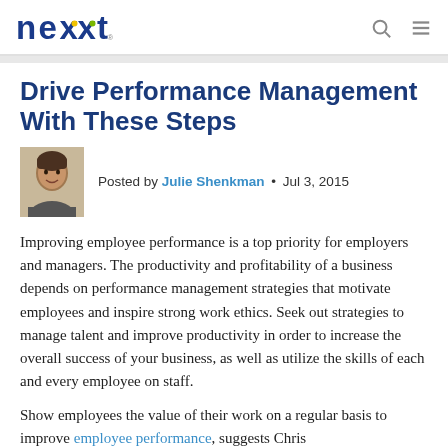nexxt
Drive Performance Management With These Steps
Posted by Julie Shenkman • Jul 3, 2015
Improving employee performance is a top priority for employers and managers. The productivity and profitability of a business depends on performance management strategies that motivate employees and inspire strong work ethics. Seek out strategies to manage talent and improve productivity in order to increase the overall success of your business, as well as utilize the skills of each and every employee on staff.
Show employees the value of their work on a regular basis to improve employee performance, suggests Chris